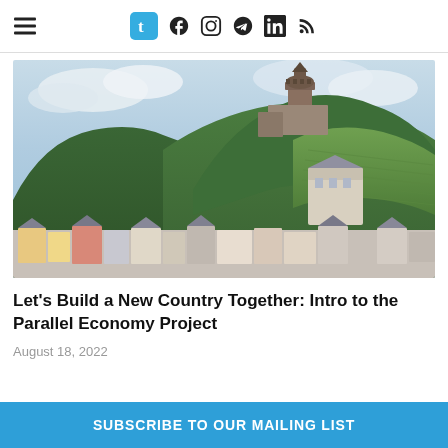Navigation header with hamburger menu and social icons: Tumblr, Facebook, Instagram, Telegram, LinkedIn, RSS
[Figure (photo): Aerial/elevated view of a European town (likely Cochem, Germany) with a medieval castle on a green forested hill, vineyards, and colorful buildings in the foreground]
Let's Build a New Country Together: Intro to the Parallel Economy Project
August 18, 2022
SUBSCRIBE TO OUR MAILING LIST